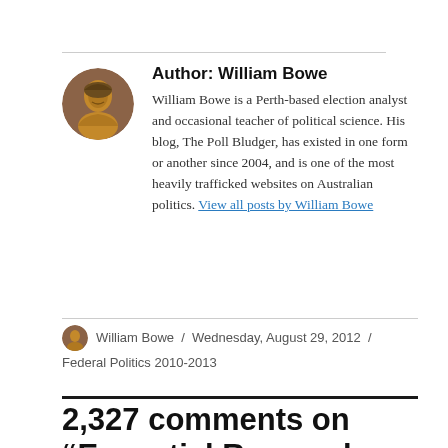Author: William Bowe
William Bowe is a Perth-based election analyst and occasional teacher of political science. His blog, The Poll Bludger, has existed in one form or another since 2004, and is one of the most heavily trafficked websites on Australian politics. View all posts by William Bowe
William Bowe / Wednesday, August 29, 2012 / Federal Politics 2010-2013
2,327 comments on “Essential Research and Morgan